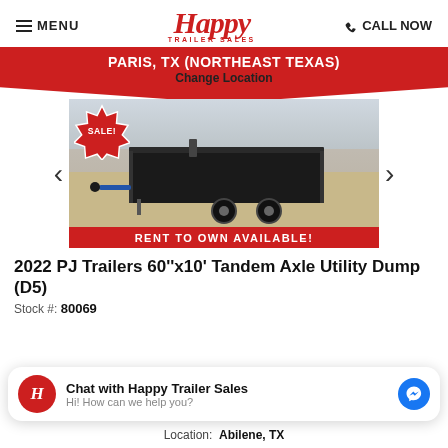Happy Trailer Sales
PARIS, TX (NORTHEAST TEXAS)
Change Location
[Figure (photo): A black 2022 PJ Trailers 60''x10' Tandem Axle Utility Dump trailer on a gravel lot. A red 'SALE!' starburst badge is overlaid at the top-left of the image. A red 'RENT TO OWN AVAILABLE!' banner appears below the image.]
2022 PJ Trailers 60''x10' Tandem Axle Utility Dump (D5)
Stock #: 80069
Chat with Happy Trailer Sales
Hi! How can we help you?
Location: Abilene, TX